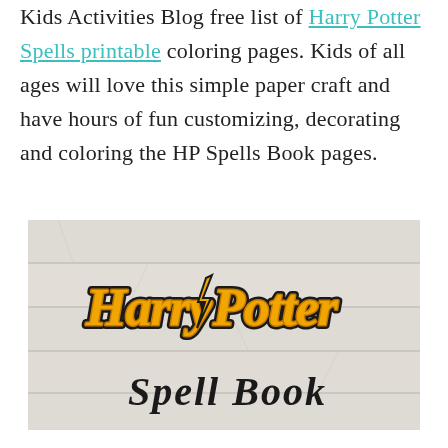Kids Activities Blog free list of Harry Potter Spells printable coloring pages. Kids of all ages will love this simple paper craft and have hours of fun customizing, decorating and coloring the HP Spells Book pages.
[Figure (photo): Photo of a Harry Potter Spell Book craft/printable with golden Harry Potter logo text and cursive 'Spell Book' text, on a white wood background.]